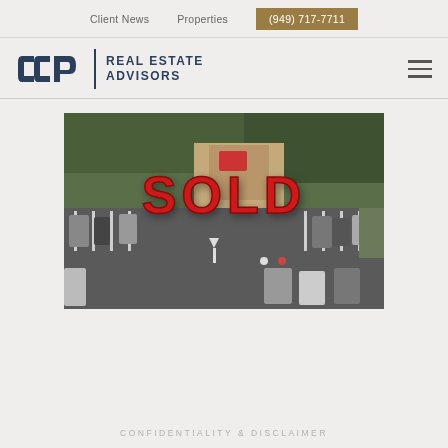Client News   Properties   (949) 717-7711
CCP REAL ESTATE ADVISORS
[Figure (photo): Aerial view of a commercial property parking lot with a retail building and 'SOLD' text overlay in large red letters]
CONFIDENTIALITY & DISCLAIMER